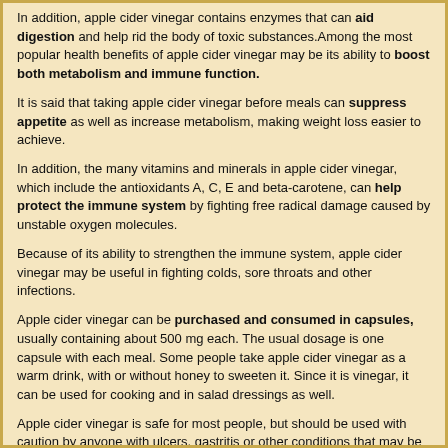In addition, apple cider vinegar contains enzymes that can aid digestion and help rid the body of toxic substances. Among the most popular health benefits of apple cider vinegar may be its ability to boost both metabolism and immune function.
It is said that taking apple cider vinegar before meals can suppress appetite as well as increase metabolism, making weight loss easier to achieve.
In addition, the many vitamins and minerals in apple cider vinegar, which include the antioxidants A, C, E and beta-carotene, can help protect the immune system by fighting free radical damage caused by unstable oxygen molecules.
Because of its ability to strengthen the immune system, apple cider vinegar may be useful in fighting colds, sore throats and other infections.
Apple cider vinegar can be purchased and consumed in capsules, usually containing about 500 mg each. The usual dosage is one capsule with each meal. Some people take apple cider vinegar as a warm drink, with or without honey to sweeten it. Since it is vinegar, it can be used for cooking and in salad dressings as well.
Apple cider vinegar is safe for most people, but should be used with caution by anyone with ulcers, gastritis or other conditions that may be irritated by the acids in vinegar.